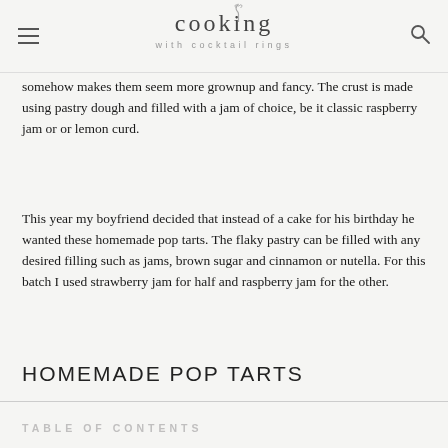cooking with cocktail rings
somehow makes them seem more grownup and fancy. The crust is made using pastry dough and filled with a jam of choice, be it classic raspberry jam or or lemon curd.
This year my boyfriend decided that instead of a cake for his birthday he wanted these homemade pop tarts. The flaky pastry can be filled with any desired filling such as jams, brown sugar and cinnamon or nutella. For this batch I used strawberry jam for half and raspberry jam for the other.
HOMEMADE POP TARTS
TABLE OF CONTENTS